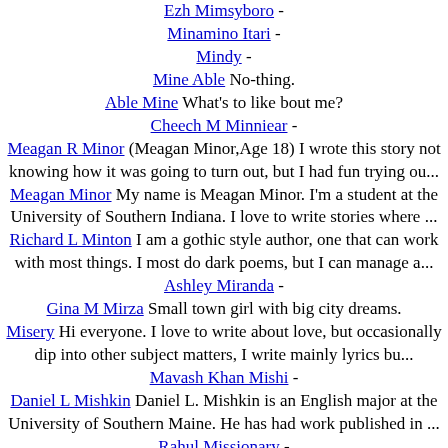Ezh Mimsyboro -
Minamino Itari -
Mindy -
Mine Able No-thing.
Able Mine What's to like bout me?
Cheech M Minniear -
Meagan R Minor (Meagan Minor,Age 18) I wrote this story not knowing how it was going to turn out, but I had fun trying ou...
Meagan Minor My name is Meagan Minor. I'm a student at the University of Southern Indiana. I love to write stories where ...
Richard L Minton I am a gothic style author, one that can work with most things. I most do dark poems, but I can manage a...
Ashley Miranda -
Gina M Mirza Small town girl with big city dreams.
Misery Hi everyone. I love to write about love, but occasionally dip into other subject matters, I write mainly lyrics bu...
Mavash Khan Mishi -
Daniel L Mishkin Daniel L. Mishkin is an English major at the University of Southern Maine. He has had work published in ...
Rahul Missionary -
Mistress -
Thomas J Misuraca Tom is the author of over 25 short stories published in various literary magazines all over the county.
Charlie Mitchell middle aged country poet/songwriter